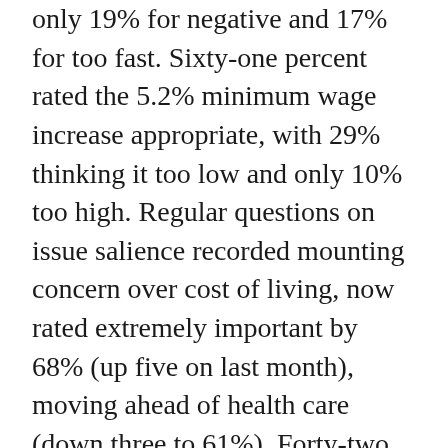only 19% for negative and 17% for too fast. Sixty-one percent rated the 5.2% minimum wage increase appropriate, with 29% thinking it too low and only 10% too high. Regular questions on issue salience recorded mounting concern over cost of living, now rated extremely important by 68% (up five on last month), moving ahead of health care (down three to 61%). Forty-two per cent rated Labor best to manage the issue, compared with 23% for the Coalition. The survey was conducted June 23 and 27 from a sample of 1201.
· Linda Silmalis of the Sunday Telegraph reports “fresh gossip in Canberra this week” that Andrew Constance, the former state government minister who narrowly failed in